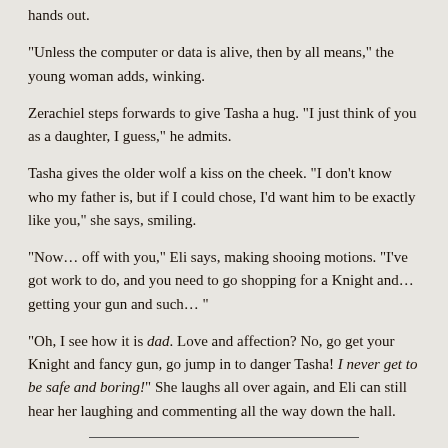hands out.
"Unless the computer or data is alive, then by all means," the young woman adds, winking.
Zerachiel steps forwards to give Tasha a hug. "I just think of you as a daughter, I guess," he admits.
Tasha gives the older wolf a kiss on the cheek. "I don't know who my father is, but if I could chose, I'd want him to be exactly like you," she says, smiling.
"Now… off with you," Eli says, making shooing motions. "I've got work to do, and you need to go shopping for a Knight and… getting your gun and such… "
"Oh, I see how it is dad. Love and affection? No, go get your Knight and fancy gun, go jump in to danger Tasha! I never get to be safe and boring!" She laughs all over again, and Eli can still hear her laughing and commenting all the way down the hall.
Hangar Bay, Harmonia
The metal petals of the hangar hatch form the upper part of this dome-shaped chamber. Fanciful gold and bronze